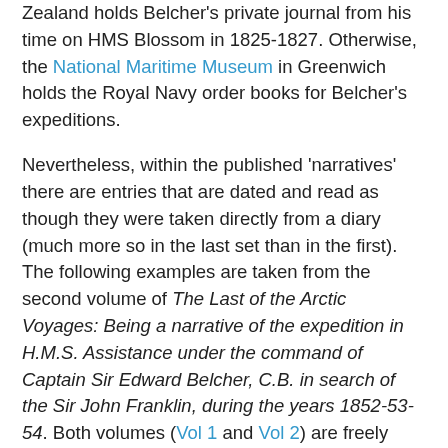Zealand holds Belcher's private journal from his time on HMS Blossom in 1825-1827. Otherwise, the National Maritime Museum in Greenwich holds the Royal Navy order books for Belcher's expeditions.
Nevertheless, within the published 'narratives' there are entries that are dated and read as though they were taken directly from a diary (much more so in the last set than in the first). The following examples are taken from the second volume of The Last of the Arctic Voyages: Being a narrative of the expedition in H.M.S. Assistance under the command of Captain Sir Edward Belcher, C.B. in search of the Sir John Franklin, during the years 1852-53-54. Both volumes (Vol 1 and Vol 2) are freely available at Internet Archive.
5 February 1854
‘The weather still remains line, but the temperature still clinging to -40°. Yesterday, under a change of wind to the northward, a point from which it seldom blows, we experienced a fall of snow, the temperature dropping, contrary to rule, as low as -50°; this was succeeded by calm and a rise to -40°.